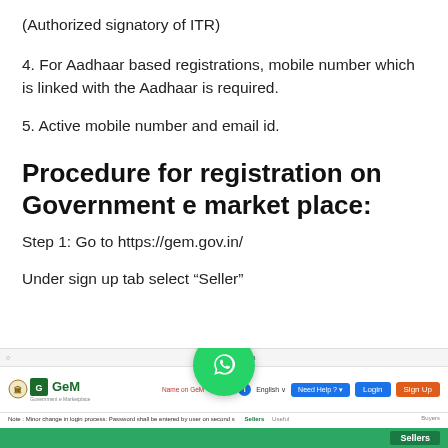(Authorized signatory of ITR)
4. For Aadhaar based registrations, mobile number which is linked with the Aadhaar is required.
5. Active mobile number and email id.
Procedure for registration on Government e market place:
Step 1: Go to https://gem.gov.in/
Under sign up tab select “Seller”
[Figure (screenshot): Screenshot of GeM (Government e Marketplace) website homepage showing the header with GeM logo, Login and Sign Up buttons, a note about minor change in login process, and a green navigation bar with Sellers tab highlighted.]